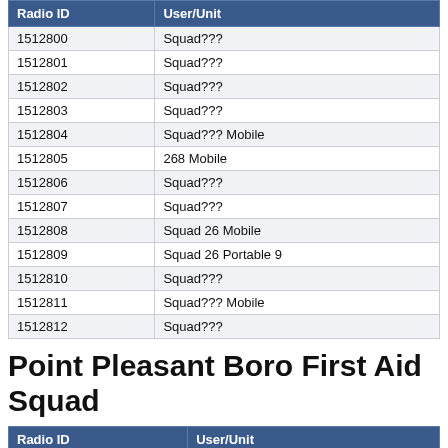| Radio ID | User/Unit |
| --- | --- |
| 1512800 | Squad??? |
| 1512801 | Squad??? |
| 1512802 | Squad??? |
| 1512803 | Squad??? |
| 1512804 | Squad??? Mobile |
| 1512805 | 268 Mobile |
| 1512806 | Squad??? |
| 1512807 | Squad??? |
| 1512808 | Squad 26 Mobile |
| 1512809 | Squad 26 Portable 9 |
| 1512810 | Squad??? |
| 1512811 | Squad??? Mobile |
| 1512812 | Squad??? |
Point Pleasant Boro First Aid Squad
| Radio ID | User/Unit |
| --- | --- |
| 1524800 | ??? Squad 35 |
| 1524801 | ??? Squad 35 |
| 1524802 | ??? Squad 35 |
| 1524803 | ??? Squad 35 |
| 1524805 | ??? Squad 35 |